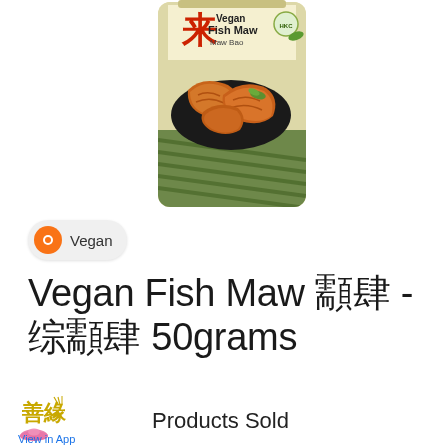[Figure (photo): Product package of Vegan Fish Maw - a snack product in a bag with green stripe design, showing fried fish maw pieces, Chinese characters, and Vegan Fish Maw text on the packaging.]
Vegan
Vegan Fish Maw 魚肚 - 素魚肚 50grams
[Figure (logo): Brand logo with Chinese characters 善緣 and lotus flower design in yellow/gold and pink colors]
Products Sold
View in App